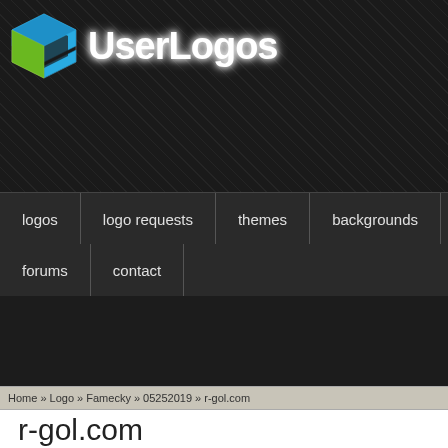[Figure (logo): UserLogos website header with cube logo and 'UserLogos' text in glowing white font on dark patterned background]
logos | logo requests | themes | backgrounds | forums | contact
Home » Logo » Famecky » 05252019 » r-gol.com
r-gol.com
famecky —Sat, 05/25/2019 - 08:40
Logos:
Search logos